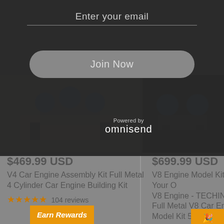Enter your email
Join Now
Powered by omnisend
[Figure (screenshot): Product image left - V4 Car Engine Assembly Kit, blue mechanical parts on tan/beige base]
[Figure (screenshot): Product image right - V8 Engine Model Kit, dark background with blue mechanical parts]
$469.99 USD
V4 Car Engine Assembly Kit Full Metal 4 Cylinder Car Engine Building Kit
104 reviews
$699.99 USD
V8 Engine Model Kit Works - Build Your Own V8 Engine - TECHINO Full Metal V8 Car Engine Model Kit 500+Pcs
29 reviews
Get 6% Off
Earn Rewards